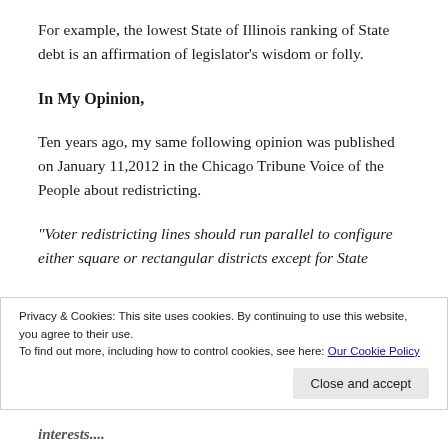For example, the lowest State of Illinois ranking of State debt is an affirmation of legislator's wisdom or folly.
In My Opinion,
Ten years ago, my same following opinion was published on January 11,2012 in the Chicago Tribune Voice of the People about redistricting.
“Voter redistricting lines should run parallel to configure either square or rectangular districts except for State
Privacy & Cookies: This site uses cookies. By continuing to use this website, you agree to their use.
To find out more, including how to control cookies, see here: Our Cookie Policy
interests....